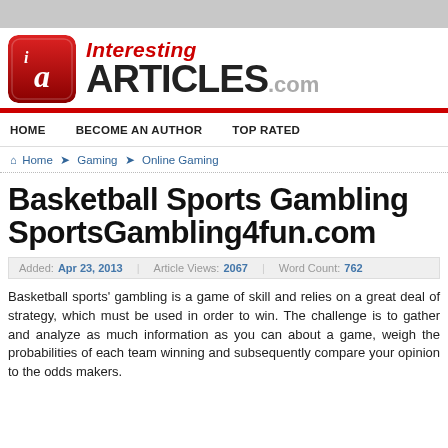[Figure (logo): InterestingArticles.com website logo with red square icon containing 'ia' letters and text 'Interesting ARTICLES.com']
HOME   BECOME AN AUTHOR   TOP RATED
Home ❯ Gaming ❯ Online Gaming
Basketball Sports Gambling SportsGambling4fun.com
Added: Apr 23, 2013  |  Article Views: 2067  |  Word Count: 762
Basketball sports' gambling is a game of skill and relies on a great deal of strategy, which must be used in order to win. The challenge is to gather and analyze as much information as you can about a game, weigh the probabilities of each team winning and subsequently compare your opinion to the odds makers.